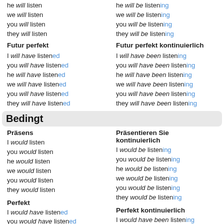he will listen
we will listen
you will listen
they will listen
he will be listening
we will be listening
you will be listening
they will be listening
Futur perfekt
Futur perfekt kontinuierlich
I will have listened
you will have listened
he will have listened
we will have listened
you will have listened
they will have listened
I will have been listening
you will have been listening
he will have been listening
we will have been listening
you will have been listening
they will have been listening
Bedingt
Präsens
I would listen
you would listen
he would listen
we would listen
you would listen
they would listen
Präsentieren Sie kontinuierlich
I would be listening
you would be listening
he would be listening
we would be listening
you would be listening
they would be listening
Perfekt
I would have listened
you would have listened
Perfekt kontinuierlich
I would have been listening
you would have been listening